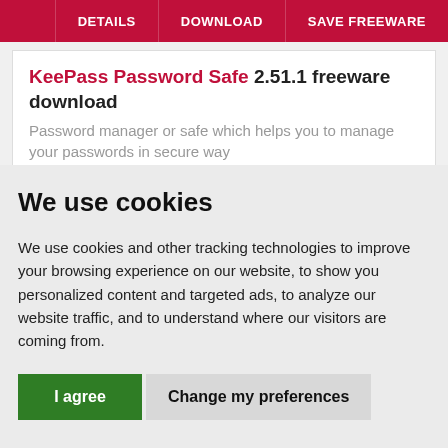DETAILS | DOWNLOAD | SAVE FREEWARE
KeePass Password Safe 2.51.1 freeware download
Password manager or safe which helps you to manage your passwords in secure way
We use cookies
We use cookies and other tracking technologies to improve your browsing experience on our website, to show you personalized content and targeted ads, to analyze our website traffic, and to understand where our visitors are coming from.
I agree | Change my preferences